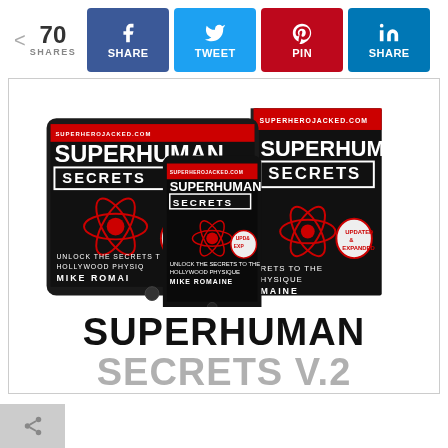[Figure (infographic): Social share bar showing 70 shares with Facebook Share, Twitter Tweet, Pinterest Pin, and LinkedIn Share buttons]
[Figure (photo): Book mockup showing 'Superhuman Secrets' by Mike Romaine displayed on a tablet, phone, and physical book. The covers are black with red atomic symbol graphic and text 'UNLOCK THE SECRETS TO THE HOLLYWOOD PHYSIQUE'. Updated & Expanded badge visible.]
SUPERHUMAN SECRETS V.2